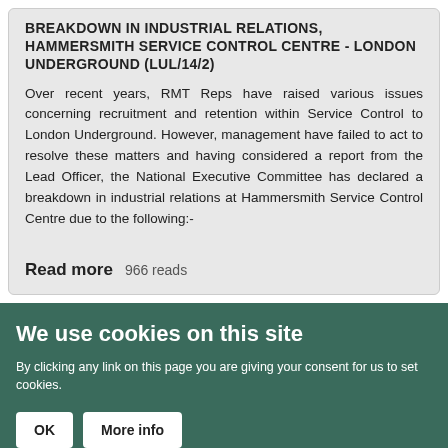BREAKDOWN IN INDUSTRIAL RELATIONS, HAMMERSMITH SERVICE CONTROL CENTRE - LONDON UNDERGROUND (LUL/14/2)
Over recent years, RMT Reps have raised various issues concerning recruitment and retention within Service Control to London Underground. However, management have failed to act to resolve these matters and having considered a report from the Lead Officer, the National Executive Committee has declared a breakdown in industrial relations at Hammersmith Service Control Centre due to the following:-
Read more   966 reads
We use cookies on this site
By clicking any link on this page you are giving your consent for us to set cookies.
OK   More info